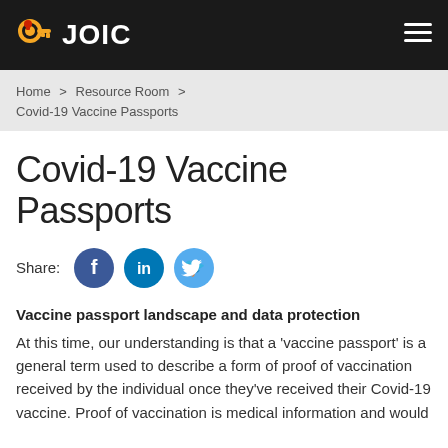JOIC
Home > Resource Room > Covid-19 Vaccine Passports
Covid-19 Vaccine Passports
Share:
Vaccine passport landscape and data protection
At this time, our understanding is that a 'vaccine passport' is a general term used to describe a form of proof of vaccination received by the individual once they've received their Covid-19 vaccine. Proof of vaccination is medical information and would